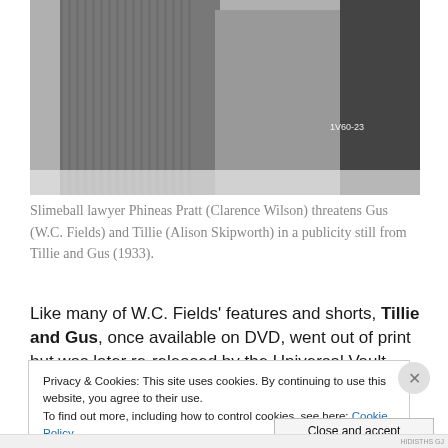[Figure (photo): Black and white publicity still showing three people. A person on the left in a striped suit, a person in the center, and a person on the right in a dark jacket. A handwritten number '1V60-23' appears in the lower right of the photo.]
Slimeball lawyer Phineas Pratt (Clarence Wilson) threatens Gus (W.C. Fields) and Tillie (Alison Skipworth) in a publicity still from Tillie and Gus (1933).
Like many of W.C. Fields' features and shorts, Tillie and Gus, once available on DVD, went out of print but was later re-released by the Universal Vault Collection in 2015
Privacy & Cookies: This site uses cookies. By continuing to use this website, you agree to their use.
To find out more, including how to control cookies, see here: Cookie Policy